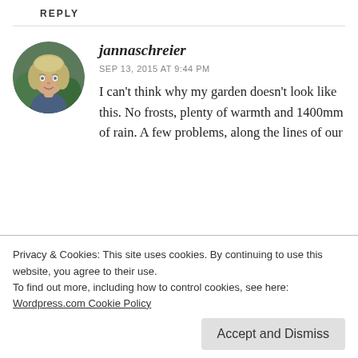REPLY
[Figure (photo): Circular profile photo of a woman with blonde/gray hair outdoors]
jannaschreier
SEP 13, 2015 AT 9:44 PM
I can't think why my garden doesn't look like this. No frosts, plenty of warmth and 1400mm of rain. A few problems, along the lines of our
Privacy & Cookies: This site uses cookies. By continuing to use this website, you agree to their use.
To find out more, including how to control cookies, see here:
Wordpress.com Cookie Policy
Accept and Dismiss